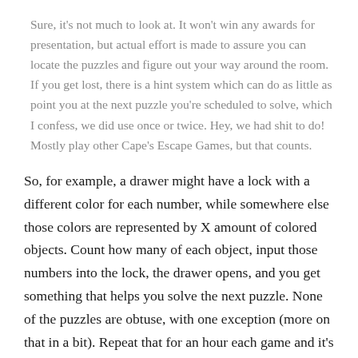Sure, it's not much to look at. It won't win any awards for presentation, but actual effort is made to assure you can locate the puzzles and figure out your way around the room. If you get lost, there is a hint system which can do as little as point you at the next puzzle you're scheduled to solve, which I confess, we did use once or twice. Hey, we had shit to do! Mostly play other Cape's Escape Games, but that counts.
So, for example, a drawer might have a lock with a different color for each number, while somewhere else those colors are represented by X amount of colored objects. Count how many of each object, input those numbers into the lock, the drawer opens, and you get something that helps you solve the next puzzle. None of the puzzles are obtuse, with one exception (more on that in a bit). Repeat that for an hour each game and it's done. Usually, Escape Room releases have no replay value, but